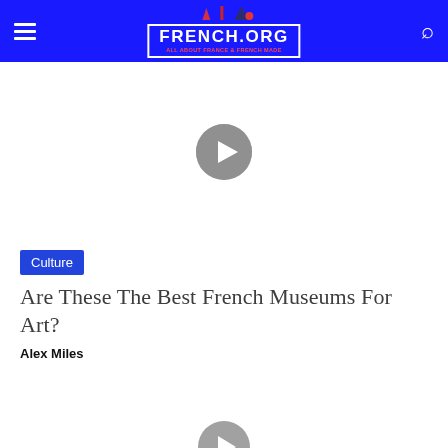FRENCH.ORG — ALL ABOUT FRANCE & FRENCH MADE
[Figure (screenshot): Video placeholder with a grey circular play button on white background]
Culture
Are These The Best French Museums For Art?
Alex Miles
[Figure (screenshot): Video placeholder with a grey circular play button on white background]